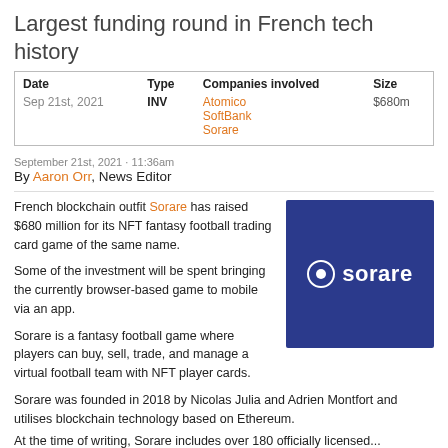Largest funding round in French tech history
| Date | Type | Companies involved | Size |
| --- | --- | --- | --- |
| Sep 21st, 2021 | INV | Atomico
SoftBank
Sorare | $680m |
September 21st, 2021 · 11:36am
By Aaron Orr, News Editor
French blockchain outfit Sorare has raised $680 million for its NFT fantasy football trading card game of the same name.
[Figure (logo): Sorare company logo — white text and icon on dark blue background]
Some of the investment will be spent bringing the currently browser-based game to mobile via an app.
Sorare is a fantasy football game where players can buy, sell, trade, and manage a virtual football team with NFT player cards.
Sorare was founded in 2018 by Nicolas Julia and Adrien Montfort and utilises blockchain technology based on Ethereum.
At the time of writing, Sorare includes over 180 officially licensed...